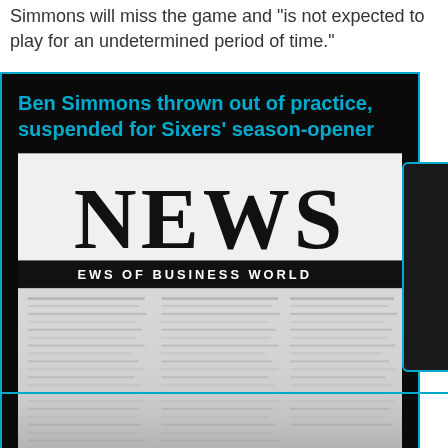Simmons will miss the game and "is not expected to play for an undetermined period of time."
Ben Simmons thrown out of practice, suspended for Sixers' season-opener
[Figure (photo): Close-up photo of a newspaper with the headline NEWS and subheading NEWS OF BUSINESS WORLD, showing columns of blurred text below]